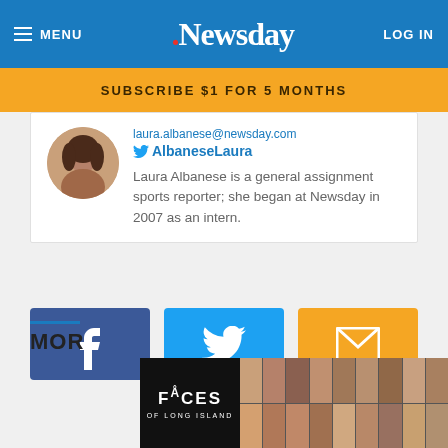MENU | Newsday | LOG IN
SUBSCRIBE $1 FOR 5 MONTHS
laura.albanese@newsday.com
@AlbaneseLaura
Laura Albanese is a general assignment sports reporter; she began at Newsday in 2007 as an intern.
[Figure (infographic): Social sharing buttons: Facebook (dark blue with f icon), Twitter (light blue with bird icon), Email (orange with envelope icon)]
MORE
[Figure (infographic): Faces of Long Island advertisement showing grid of portrait photos with title text]